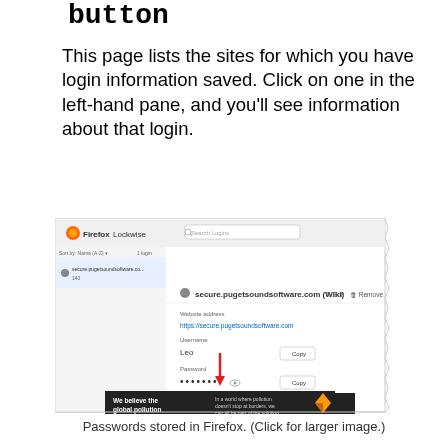button
This page lists the sites for which you have login information saved. Click on one in the left-hand pane, and you'll see information about that login.
[Figure (screenshot): Firefox Lockwise password manager screenshot showing stored login for secure.pugetsoundsoftware.com (Wiki) with username 'Leo' and a masked password field, with a red arrow pointing to the password area. An advertisement for Pure Earth appears at the bottom of the screenshot.]
Passwords stored in Firefox. (Click for larger image.)